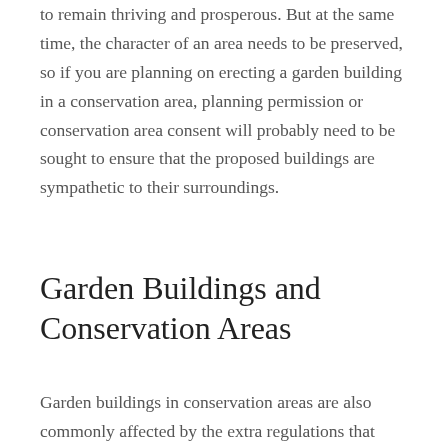to remain thriving and prosperous. But at the same time, the character of an area needs to be preserved, so if you are planning on erecting a garden building in a conservation area, planning permission or conservation area consent will probably need to be sought to ensure that the proposed buildings are sympathetic to their surroundings.
Garden Buildings and Conservation Areas
Garden buildings in conservation areas are also commonly affected by the extra regulations that affect changes or additions to the main dwelling.